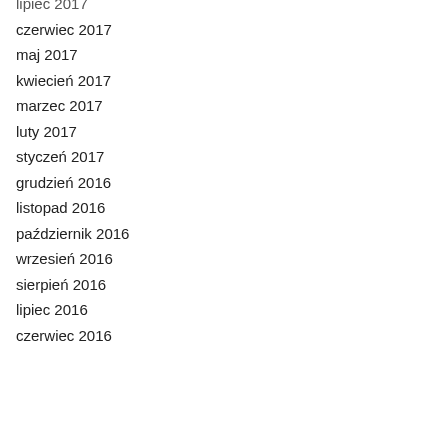lipiec 2017
czerwiec 2017
maj 2017
kwiecień 2017
marzec 2017
luty 2017
styczeń 2017
grudzień 2016
listopad 2016
październik 2016
wrzesień 2016
sierpień 2016
lipiec 2016
czerwiec 2016